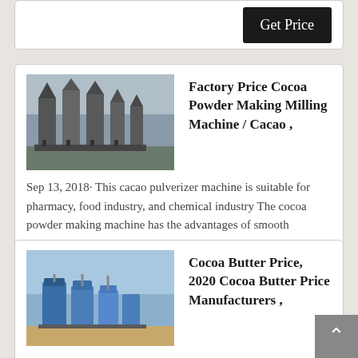[Figure (screenshot): Partial card at top showing Get Price button]
[Figure (photo): Industrial factory machinery with silos/hoppers]
Factory Price Cocoa Powder Making Milling Machine / Cacao ,
Sep 13, 2018· This cacao pulverizer machine is suitable for pharmacy, food industry, and chemical industry The cocoa powder making machine has the advantages of smooth
[Figure (photo): Industrial factory machinery with blue equipment]
Cocoa Butter Price, 2020 Cocoa Butter Price Manufacturers ,
Cocoa Butter Price - Select 2020 high quality Cocoa Butter Price products in best price from certified Chinese E Liqu